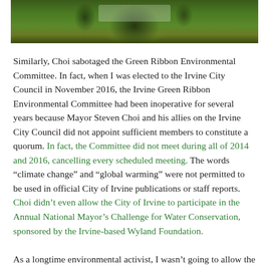[Figure (photo): Outdoor photo showing people on a grass field with a banner/sign visible in the background]
Similarly, Choi sabotaged the Green Ribbon Environmental Committee. In fact, when I was elected to the Irvine City Council in November 2016, the Irvine Green Ribbon Environmental Committee had been inoperative for several years because Mayor Steven Choi and his allies on the Irvine City Council did not appoint sufficient members to constitute a quorum. In fact, the Committee did not meet during all of 2014 and 2016, cancelling every scheduled meeting. The words “climate change” and “global warming” were not permitted to be used in official City of Irvine publications or staff reports. Choi didn’t even allow the City of Irvine to participate in the Annual National Mayor’s Challenge for Water Conservation, sponsored by the Irvine-based Wyland Foundation.
As a longtime environmental activist, I wasn’t going to allow the City of Irvine to continue to ignore environmental issues and